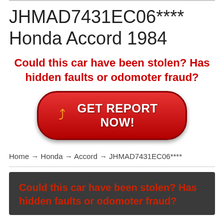JHMAD7431EC06**** Honda Accord 1984
Could this car have been stolen? Has hidden faults or odomoter fraud?
[Figure (other): Red rounded button with arrow icon and text GET REPORT NOW!]
Home → Honda → Accord → JHMAD7431EC06****
Could this car have been stolen? Has hidden faults or odomoter fraud?